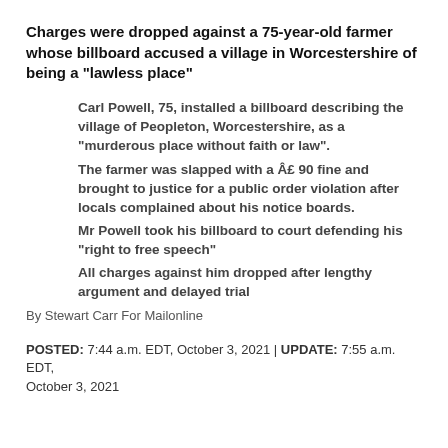Charges were dropped against a 75-year-old farmer whose billboard accused a village in Worcestershire of being a “lawless place”
Carl Powell, 75, installed a billboard describing the village of Peopleton, Worcestershire, as a “murderous place without faith or law”.
The farmer was slapped with a Â£ 90 fine and brought to justice for a public order violation after locals complained about his notice boards.
Mr Powell took his billboard to court defending his “right to free speech”
All charges against him dropped after lengthy argument and delayed trial
By Stewart Carr For Mailonline
POSTED: 7:44 a.m. EDT, October 3, 2021 | UPDATE: 7:55 a.m. EDT, October 3, 2021